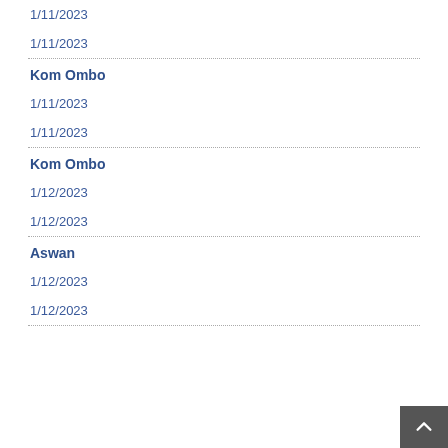1/11/2023
1/11/2023
Kom Ombo
1/11/2023
1/11/2023
Kom Ombo
1/12/2023
1/12/2023
Aswan
1/12/2023
1/12/2023